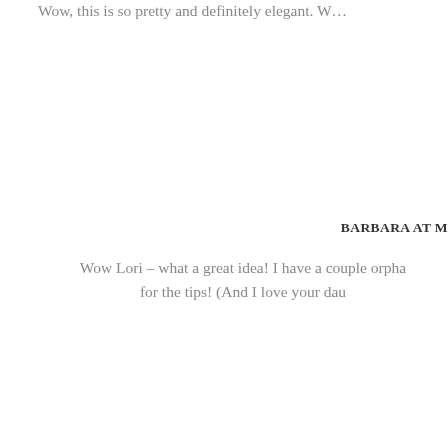Wow, this is so pretty and definitely elegant. W…
BARBARA AT M
Wow Lori – what a great idea! I have a couple orpha… for the tips! (And I love your dau…